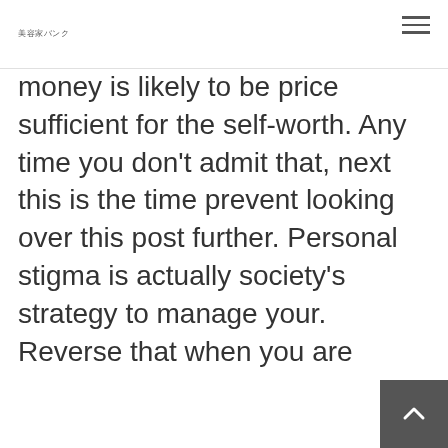美容家バンク
money is likely to be price sufficient for the self-worth. Any time you don't admit that, next this is the time prevent looking over this post further. Personal stigma is actually society's strategy to manage your. Reverse that when you are incredibly alert to their very own shame, of course, if you need to, bring it very discreetly with the focus of those whom seek to change your by daunting your into entry of whatever determine is or perhaps isn't great.